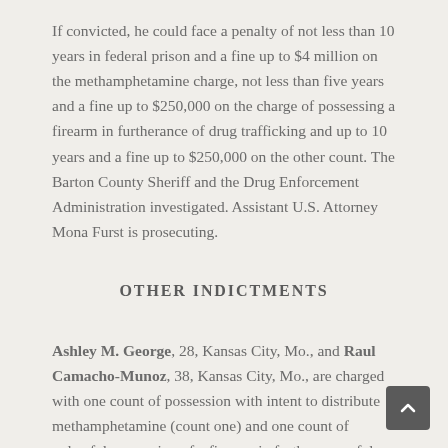If convicted, he could face a penalty of not less than 10 years in federal prison and a fine up to $4 million on the methamphetamine charge, not less than five years and a fine up to $250,000 on the charge of possessing a firearm in furtherance of drug trafficking and up to 10 years and a fine up to $250,000 on the other count. The Barton County Sheriff and the Drug Enforcement Administration investigated. Assistant U.S. Attorney Mona Furst is prosecuting.
OTHER INDICTMENTS
Ashley M. George, 28, Kansas City, Mo., and Raul Camacho-Munoz, 38, Kansas City, Mo., are charged with one count of possession with intent to distribute methamphetamine (count one) and one count of unlawful possession of a firearm in furtherance of drug trafficking (count two). In addition, George is charged with one count of unlawful possession of a